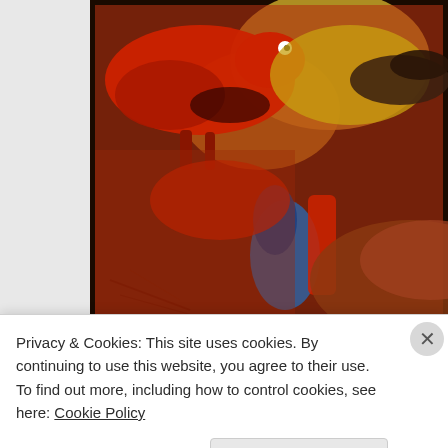[Figure (illustration): A colorful painting based on ancient cave art showing animals (buffalo/bison, horses) in red, brown, blue and yellow tones on a dark-bordered canvas.]
A painting (based on ancient cave art) I did last week. It's not great, bu
Privacy & Cookies: This site uses cookies. By continuing to use this website, you agree to their use.
To find out more, including how to control cookies, see here: Cookie Policy
Close and accept